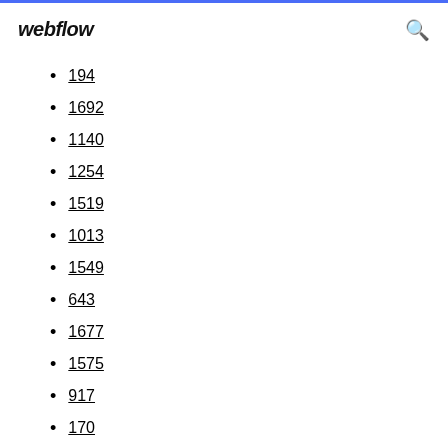webflow
194
1692
1140
1254
1519
1013
1549
643
1677
1575
917
170